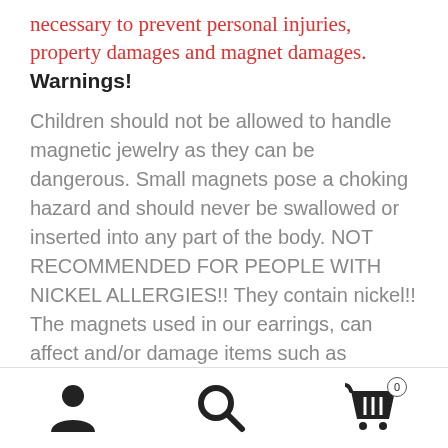necessary to prevent personal injuries, property damages and magnet damages.
Warnings!
Children should not be allowed to handle magnetic jewelry as they can be dangerous. Small magnets pose a choking hazard and should never be swallowed or inserted into any part of the body. NOT RECOMMENDED FOR PEOPLE WITH NICKEL ALLERGIES!! They contain nickel!! The magnets used in our earrings, can affect and/or damage items such as cathode ray tube television and computer monitors, credit cards, bank cards, computer disk drives, diskettes, video tape and other magnetic data carriers and storage devices along with mechanical watches,
[Figure (infographic): Bottom navigation bar with three icons: user/profile icon, search/magnifying glass icon, and shopping cart icon with badge showing 0]